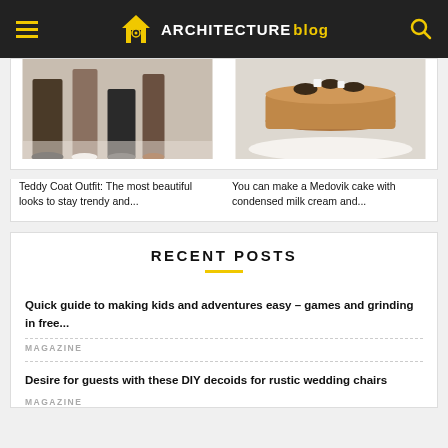ARCHITECTURE blog
[Figure (photo): Fashion photo showing legs and feet of people wearing trendy outfits including a teddy coat]
Teddy Coat Outfit: The most beautiful looks to stay trendy and...
[Figure (photo): Photo of a Medovik cake topped with biscuits and cream on a white plate]
You can make a Medovik cake with condensed milk cream and...
RECENT POSTS
Quick guide to making kids and adventures easy – games and grinding in free...
MAGAZINE
Desire for guests with these DIY decoids for rustic wedding chairs
MAGAZINE